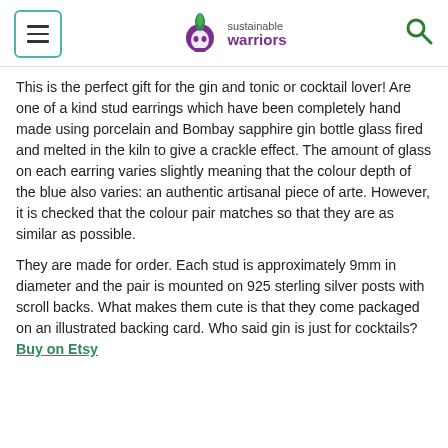sustainable warriors
This is the perfect gift for the gin and tonic or cocktail lover! Are one of a kind stud earrings which have been completely hand made using porcelain and Bombay sapphire gin bottle glass fired and melted in the kiln to give a crackle effect. The amount of glass on each earring varies slightly meaning that the colour depth of the blue also varies: an authentic artisanal piece of arte. However, it is checked that the colour pair matches so that they are as similar as possible.
They are made for order. Each stud is approximately 9mm in diameter and the pair is mounted on 925 sterling silver posts with scroll backs. What makes them cute is that they come packaged on an illustrated backing card. Who said gin is just for cocktails? Buy on Etsy